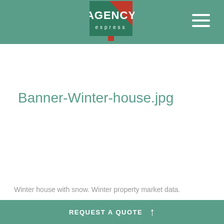Agency Express
Banner-Winter-house.jpg
Winter house with snow. Winter property market data.
REQUEST A QUOTE ↑